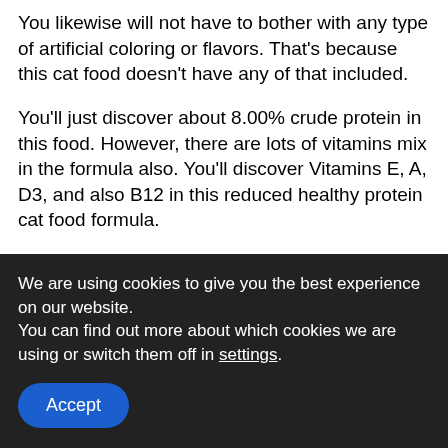You likewise will not have to bother with any type of artificial coloring or flavors. That's because this cat food doesn't have any of that included.
You'll just discover about 8.00% crude protein in this food. However, there are lots of vitamins mix in the formula also. You'll discover Vitamins E, A, D3, and also B12 in this reduced healthy protein cat food formula.
Selecting The Best Low Protein Cat Food Brand
We are using cookies to give you the best experience on our website.
You can find out more about which cookies we are using or switch them off in settings.
Accept